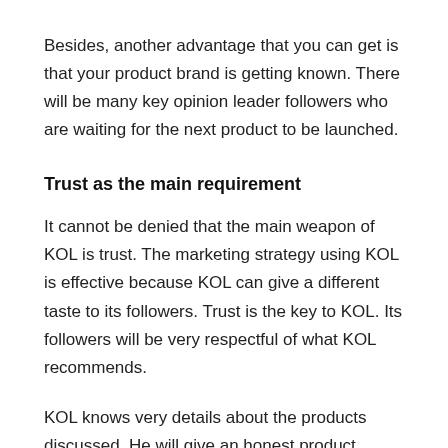Besides, another advantage that you can get is that your product brand is getting known. There will be many key opinion leader followers who are waiting for the next product to be launched.
Trust as the main requirement
It cannot be denied that the main weapon of KOL is trust. The marketing strategy using KOL is effective because KOL can give a different taste to its followers. Trust is the key to KOL. Its followers will be very respectful of what KOL recommends.
KOL knows very details about the products discussed. He will give an honest product review.